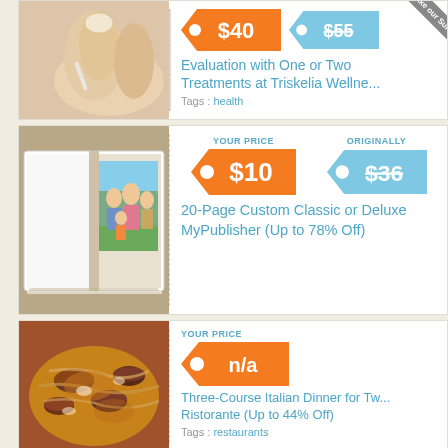[Figure (photo): Close-up of fingers holding a small tool, health/wellness context]
[Figure (infographic): Price tag showing $40 in orange and $55 in blue (partially visible), with Take our Survey ribbon]
Evaluation with One or Two Treatments at Triskelia Wellne...
Tags : health
[Figure (photo): Open photo book showing a family photo]
[Figure (infographic): YOUR PRICE $10 orange tag, ORIGINALLY $36 blue tag]
20-Page Custom Classic or Deluxe MyPublisher (Up to 78% Off)
[Figure (photo): Close-up of Italian pasta dish with mushrooms]
[Figure (infographic): YOUR PRICE n/a orange tag]
Three-Course Italian Dinner for Two Ristorante (Up to 44% Off)
Tags : restaurants